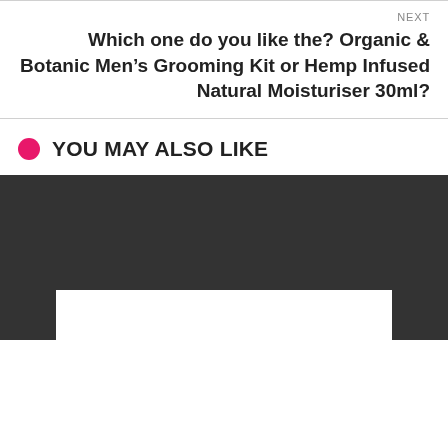NEXT
Which one do you like the? Organic & Botanic Men’s Grooming Kit or Hemp Infused Natural Moisturiser 30ml?
YOU MAY ALSO LIKE
[Figure (photo): Dark background image placeholder with white box at bottom]